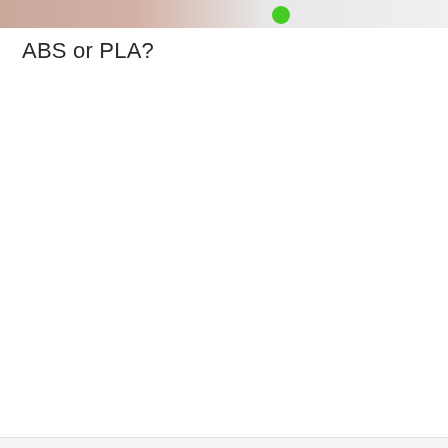[Figure (photo): Partial photo strip at top of page showing a hand/fingers and a green circular element, cropped at the top edge of the page]
ABS or PLA?